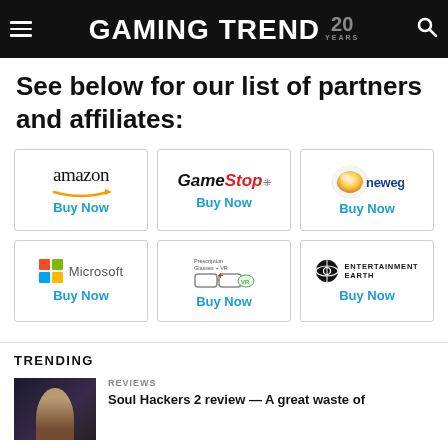GAMING TREND 20 YEARS
See below for our list of partners and affiliates:
[Figure (logo): Amazon logo with arrow — Buy Now]
[Figure (logo): GameStop logo — Buy Now]
[Figure (logo): Newegg logo — Buy Now]
[Figure (logo): Microsoft logo — Buy Now]
[Figure (logo): Prescription Glasses / VR logo — Buy Now]
[Figure (logo): Entertainment Earth logo — Buy Now]
TRENDING
REVIEWS
Soul Hackers 2 review — A great waste of